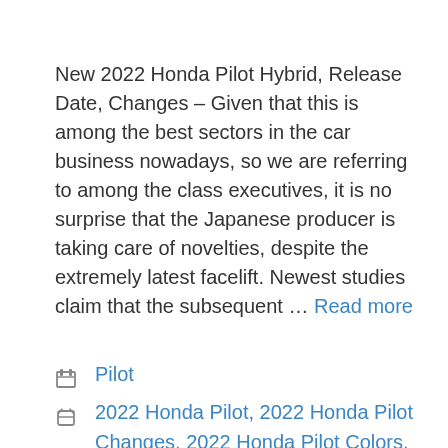New 2022 Honda Pilot Hybrid, Release Date, Changes – Given that this is among the best sectors in the car business nowadays, so we are referring to among the class executives, it is no surprise that the Japanese producer is taking care of novelties, despite the extremely latest facelift. Newest studies claim that the subsequent … Read more
Pilot
2022 Honda Pilot, 2022 Honda Pilot Changes, 2022 Honda Pilot Colors, 2022 Honda Pilot Concept, 2022 Honda Pilot Hybrid, 2022 Honda Pilot Interior, 2022